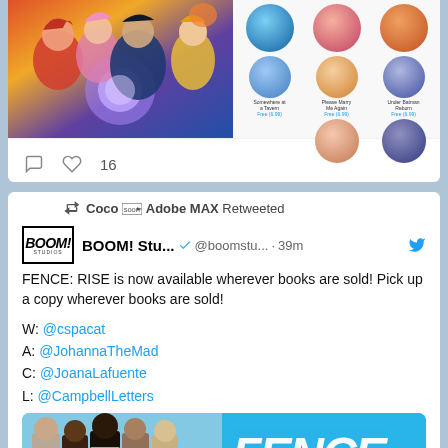[Figure (screenshot): Manga/anime style illustration with colorful characters on the left, and a grid of circular character icons on the right with labels underneath some circles]
♡ 16
Coco➡️Adobe MAX Retweeted
[Figure (logo): BOOM! Studios logo - black rectangle with BOOM! text in white and STUDIOS below]
BOOM! Stu... @boomstu... · 39m
FENCE: RISE is now available wherever books are sold! Pick up a copy wherever books are sold!
W: @cspacat
A: @JohannaTheMad
C: @JoanaLafuente
L: @CampbellLetters
[Figure (illustration): FENCE book promotional card with illustrated characters on a blue background and FENCE logo text]